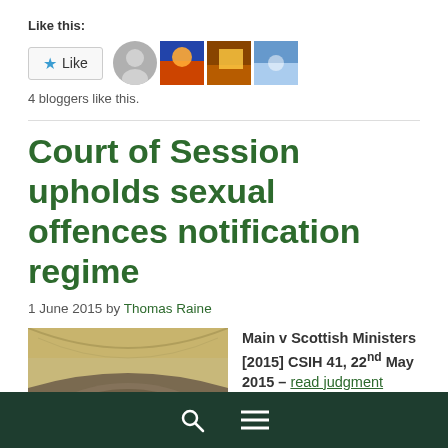Like this:
[Figure (other): Like button with star icon and 3 blogger avatar thumbnails]
4 bloggers like this.
Court of Session upholds sexual offences notification regime
1 June 2015 by Thomas Raine
[Figure (photo): Interior of Scottish Parliament chamber with curved seating rows]
Main v Scottish Ministers [2015] CSIH 41, 22nd May 2015 – read judgment

The Court of Session's
Search | Menu